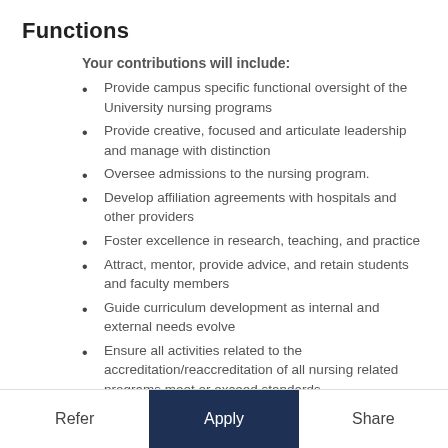Functions
Your contributions will include:
Provide campus specific functional oversight of the University nursing programs
Provide creative, focused and articulate leadership and manage with distinction
Oversee admissions to the nursing program.
Develop affiliation agreements with hospitals and other providers
Foster excellence in research, teaching, and practice
Attract, mentor, provide advice, and retain students and faculty members
Guide curriculum development as internal and external needs evolve
Ensure all activities related to the accreditation/reaccreditation of all nursing related programs meet or exceed standards
Refer   Apply   Share